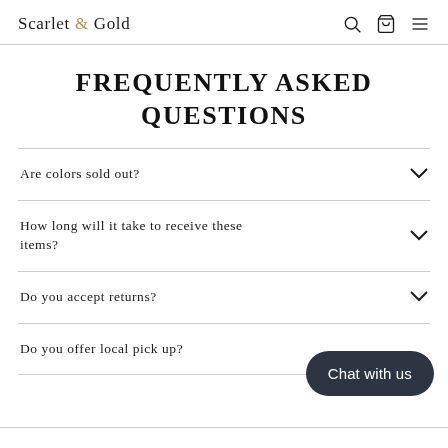Scarlet & Gold
FREQUENTLY ASKED QUESTIONS
Are colors sold out?
How long will it take to receive these items?
Do you accept returns?
Do you offer local pick up?